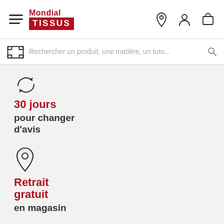Mondial TISSUS — navigation header with hamburger menu, logo, and icons (location, account, cart)
Rechercher un produit, une matière, un tuto...
[Figure (illustration): Circular arrows icon representing 30-day return policy]
30 jours pour changer d'avis
[Figure (illustration): Location pin icon representing free in-store pickup]
Retrait gratuit en magasin
[Figure (illustration): Padlock icon representing secure payment]
Paiement